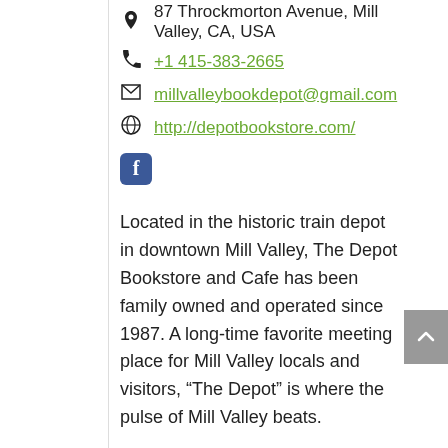87 Throckmorton Avenue, Mill Valley, CA, USA
+1 415-383-2665
millvalleybookdepot@gmail.com
http://depotbookstore.com/
Located in the historic train depot in downtown Mill Valley, The Depot Bookstore and Cafe has been family owned and operated since 1987. A long-time favorite meeting place for Mill Valley locals and visitors, “The Depot” is where the pulse of Mill Valley beats.
Enjoy the warm hometown feeling and friendly atmosphere while shopping for the perfect book or perusing our wide assortment of fashion, news, home, and literary magazines.
Or join us for coffee, a glass of wine, or a meal while taking in Mill Valley’s best people-watching from our outdoor terrace.